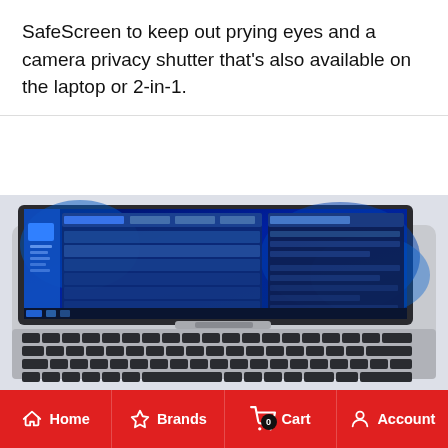SafeScreen to keep out prying eyes and a camera privacy shutter that's also available on the laptop or 2-in-1.
[Figure (photo): Top-down view of a Dell laptop open showing a blue-themed Windows interface on the screen with a silver keyboard and trackpad visible below]
Home | Brands | Cart (0) | Account